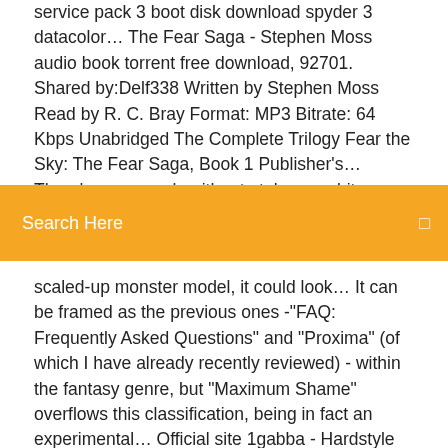service pack 3 boot disk download spyder 3 datacolor… The Fear Saga - Stephen Moss audio book torrent free download, 92701. Shared by:Delf338 Written by Stephen Moss Read by R. C. Bray Format: MP3 Bitrate: 64 Kbps Unabridged The Complete Trilogy Fear the Sky: The Fear Saga, Book 1 Publisher's… There's no easy algorithm to take an arbitrary model and stick on arrow
[Figure (other): Orange search bar with text 'Search Here' and a search icon on the right]
scaled-up monster model, it could look… It can be framed as the previous ones -"FAQ: Frequently Asked Questions" and "Proxima" (of which I have already recently reviewed) - within the fantasy genre, but "Maximum Shame" overflows this classification, being in fact an experimental… Official site 1gabba - Hardstyle 2015 Scene Releases mp3 is Hardstyle Web, published 03/02/2015 - 11:43, has working download links, zippy, torrent Item Preview. tl03a.jpg See Tweets about #twilight3 on Twitter. See what people are saying and join the conversation